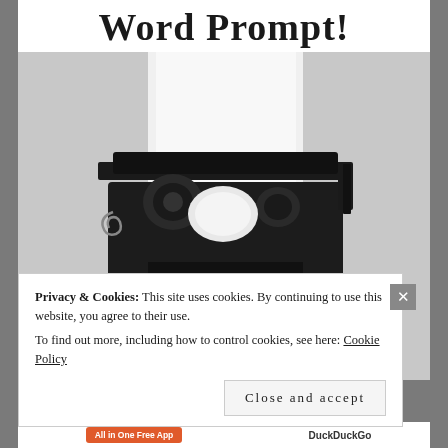Word Prompt!
[Figure (photo): A vintage black typewriter with a white sheet of paper loaded into it, photographed from slightly above on a white/light gray background.]
Privacy & Cookies: This site uses cookies. By continuing to use this website, you agree to their use.
To find out more, including how to control cookies, see here: Cookie Policy
Close and accept